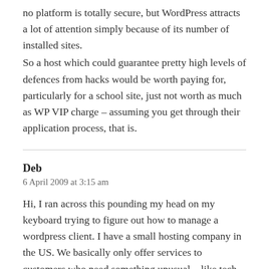no platform is totally secure, but WordPress attracts a lot of attention simply because of its number of installed sites. So a host which could guarantee pretty high levels of defences from hacks would be worth paying for, particularly for a school site, just not worth as much as WP VIP charge – assuming you get through their application process, that is.
Deb
6 April 2009 at 3:15 am
Hi, I ran across this pounding my head on my keyboard trying to figure out how to manage a wordpress client. I have a small hosting company in the US. We basically only offer services to customers who need something unusual – like tech companies who need subversion repos and trac and and private